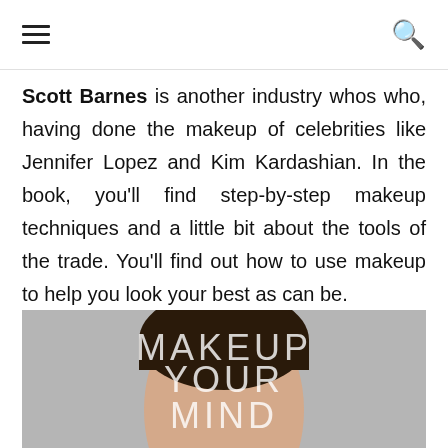[hamburger menu icon] [search icon]
Scott Barnes is another industry whos who, having done the makeup of celebrities like Jennifer Lopez and Kim Kardashian. In the book, you'll find step-by-step makeup techniques and a little bit about the tools of the trade. You'll find out how to use makeup to help you look your best as can be.
[Figure (photo): Book cover of 'Makeup Your Mind' by Scott Barnes, showing a close-up of a woman's face with sleek hair against a grey background, with large light-colored text overlaid reading MAKEUP YOUR MIND.]